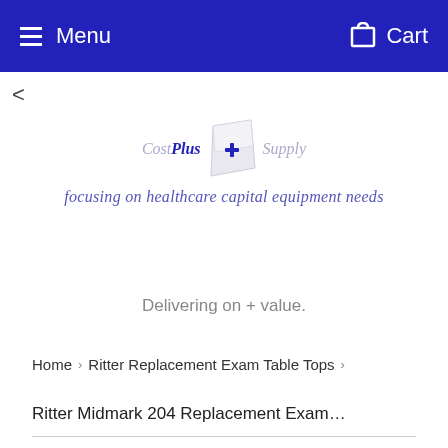Menu   Cart
<
[Figure (logo): CostPlus Supply logo with a folded paper/card icon and tagline: focusing on healthcare capital equipment needs]
Delivering on + value.
Home  >  Ritter Replacement Exam Table Tops  >
Ritter Midmark 204 Replacement Exam…